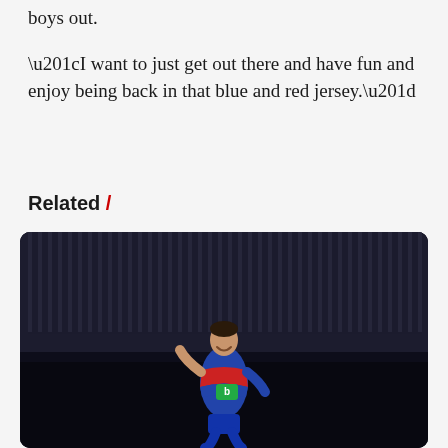boys out.
“I want to just get out there and have fun and enjoy being back in that blue and red jersey.”
Related /
[Figure (photo): A rugby league player in a blue and red jersey celebrating or running on a dark pitch, with a dark industrial-style building in the background.]